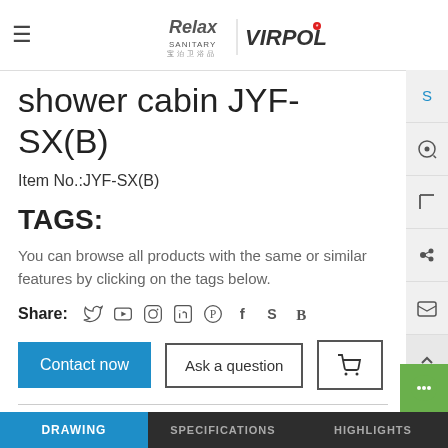Relax Sanitary | VIRPOL (logo)
shower cabin JYF-SX(B)
Item No.:JYF-SX(B)
TAGS:
You can browse all products with the same or similar features by clicking on the tags below.
Share:
Contact now   Ask a question   [cart icon]
DRAWING   SPECIFICATIONS   HIGHLIGHTS